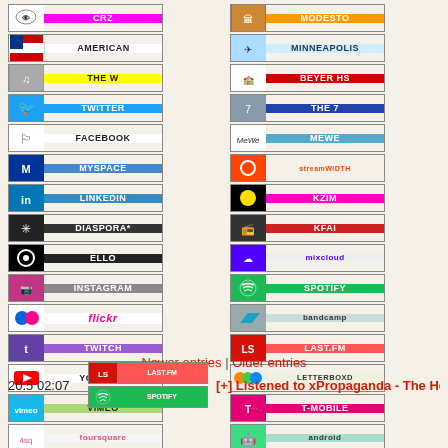[Figure (infographic): Two columns of social media / service badges including CRZ, American, The W, Twitter, Facebook, MySpace, LinkedIn, Diaspora*, Ello, Instagram, Flickr, Twitch, YouTube, Vimeo, Foursquare, Facto, Pinterest, Quora, Christian, Methodist, Scouting, Gemini, June, ICQ, E-Mail in left column; Modesto, Minneapolis, Beyer HS, The 7, MeWe, StreamWidth, KZIM, KFAI, Mixcloud, Spotify, Bandcamp, Last.FM, Letterboxd, T-Mobile, Android, Strava, Ron Paul, Libertarian, VW, K6ZIM, Keybase in right column]
Newer entries | Older entries
20.5 02:07
[+] Listened to xPropaganda - The He...